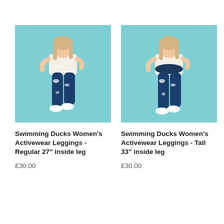[Figure (photo): Woman with blonde hair wearing a white crop top and swimming ducks patterned dark blue activewear leggings, posed against a teal/light blue background.]
Swimming Ducks Women's Activewear Leggings - Regular 27" inside leg
£30.00
[Figure (photo): Woman with blonde hair wearing a white crop top and swimming ducks patterned dark blue activewear leggings, posed against a teal/light blue background.]
Swimming Ducks Women's Activewear Leggings - Tall 33" inside leg
£30.00